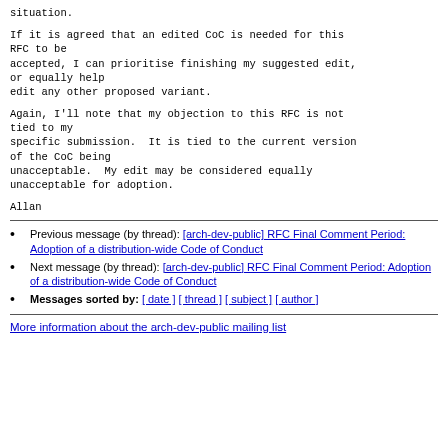situation.
If it is agreed that an edited CoC is needed for this RFC to be
accepted, I can prioritise finishing my suggested edit,
or equally help
edit any other proposed variant.
Again, I'll note that my objection to this RFC is not tied to my
specific submission.  It is tied to the current version of the CoC being
unacceptable.  My edit may be considered equally
unacceptable for adoption.
Allan
Previous message (by thread): [arch-dev-public] RFC Final Comment Period: Adoption of a distribution-wide Code of Conduct
Next message (by thread): [arch-dev-public] RFC Final Comment Period: Adoption of a distribution-wide Code of Conduct
Messages sorted by: [ date ] [ thread ] [ subject ] [ author ]
More information about the arch-dev-public mailing list